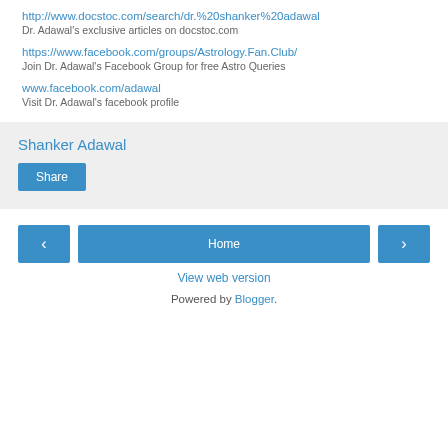http://www.docstoc.com/search/dr.%20shanker%20adawal
Dr. Adawal's exclusive articles on docstoc.com
https://www.facebook.com/groups/Astrology.Fan.Club/
Join Dr. Adawal's Facebook Group for free Astro Queries
www.facebook.com/adawal
Visit Dr. Adawal's facebook profile
Shanker Adawal
Share
Home
View web version
Powered by Blogger.